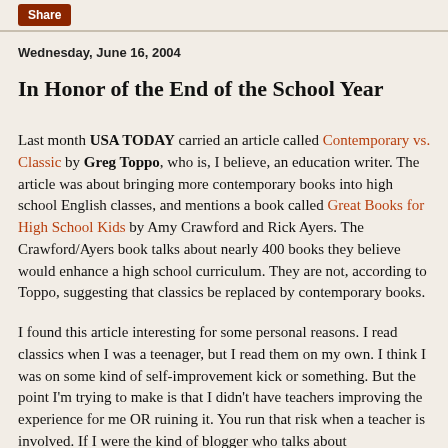Share
Wednesday, June 16, 2004
In Honor of the End of the School Year
Last month USA TODAY carried an article called Contemporary vs. Classic by Greg Toppo, who is, I believe, an education writer. The article was about bringing more contemporary books into high school English classes, and mentions a book called Great Books for High School Kids by Amy Crawford and Rick Ayers. The Crawford/Ayers book talks about nearly 400 books they believe would enhance a high school curriculum. They are not, according to Toppo, suggesting that classics be replaced by contemporary books.
I found this article interesting for some personal reasons. I read classics when I was a teenager, but I read them on my own. I think I was on some kind of self-improvement kick or something. But the point I'm trying to make is that I didn't have teachers improving the experience for me OR ruining it. You run that risk when a teacher is involved. If I were the kind of blogger who talks about